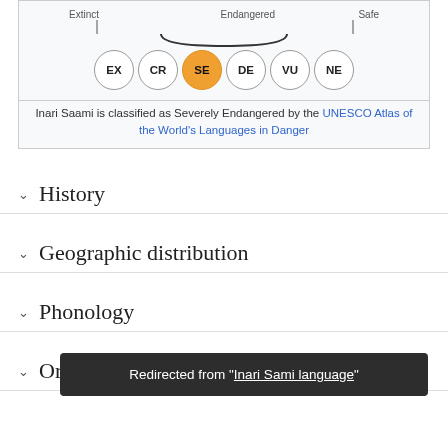[Figure (infographic): Language endangerment scale showing: Extinct (EX), Critically Endangered (CR), Severely Endangered (SE, highlighted in orange), Definitely Endangered (DE), Vulnerable (VU), Not Endangered (NE). SE is highlighted as the current classification for Inari Saami.]
Inari Saami is classified as Severely Endangered by the UNESCO Atlas of the World's Languages in Danger
History
Geographic distribution
Phonology
Orthography
Redirected from "Inari Sami language"